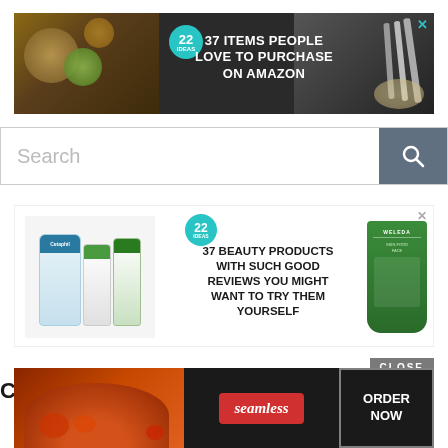[Figure (screenshot): Advertisement banner: '37 ITEMS PEOPLE LOVE TO PURCHASE ON AMAZON' with teal badge showing 22, food and knives imagery, close X button]
[Figure (screenshot): Search bar with placeholder text 'Search' and a grey search button with magnifying glass icon]
[Figure (screenshot): Advertisement: '37 BEAUTY PRODUCTS WITH SUCH GOOD REVIEWS YOU MIGHT WANT TO TRY THEM YOURSELF' with Cetaphil products on left, Weleda product on right, teal 22 badge, close X]
CLOSE
CATEGO
[Figure (screenshot): Seamless food delivery ad with pizza image on left, Seamless red logo in center, 'ORDER NOW' button on right with dark background]